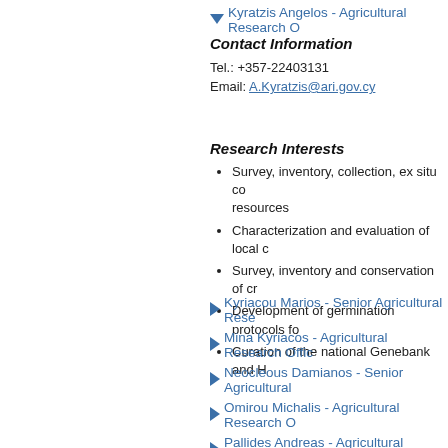Kyratzis Angelos - Agricultural Research O...
Contact Information
Tel.: +357-22403131
Email: A.Kyratzis@ari.gov.cy
Research Interests
Survey, inventory, collection, ex situ co... resources
Characterization and evaluation of local c...
Survey, inventory and conservation of cr...
Development of germination protocols fo...
Curation of the national Genebank and H...
Kyriacou Marios - Senior Agricultural Rese...
Mina Kyriacos - Agricultural Research Offic...
Neocleous Damianos - Senior Agricultural...
Omirou Michalis - Agricultural Research O...
Pallides Andreas - Agricultural Research O...
Papadavid George - Agricultural Research...